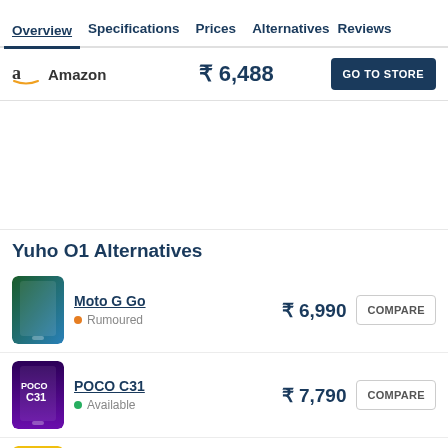Overview  Specifications  Prices  Alternatives  Reviews
| Store | Price | Action |
| --- | --- | --- |
| Amazon | ₹ 6,488 | GO TO STORE |
Yuho O1 Alternatives
| Product | Price | Action |
| --- | --- | --- |
| Moto G Go  • Rumoured | ₹ 6,990 | COMPARE |
| POCO C31  • Available | ₹ 7,790 | COMPARE |
| Xiaomi Redmi 9A Sport | ₹ 6,868 | COMPARE |